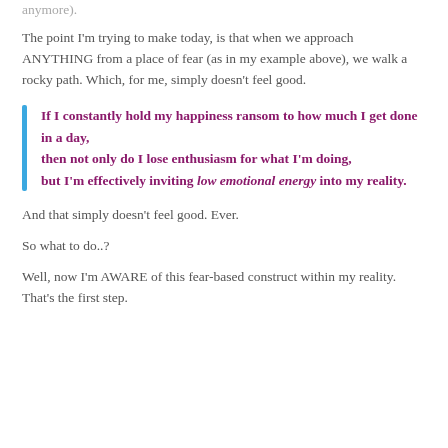anymore).
The point I'm trying to make today, is that when we approach ANYTHING from a place of fear (as in my example above), we walk a rocky path. Which, for me, simply doesn't feel good.
If I constantly hold my happiness ransom to how much I get done in a day, then not only do I lose enthusiasm for what I'm doing, but I'm effectively inviting low emotional energy into my reality.
And that simply doesn't feel good. Ever.
So what to do..?
Well, now I'm AWARE of this fear-based construct within my reality. That's the first step.